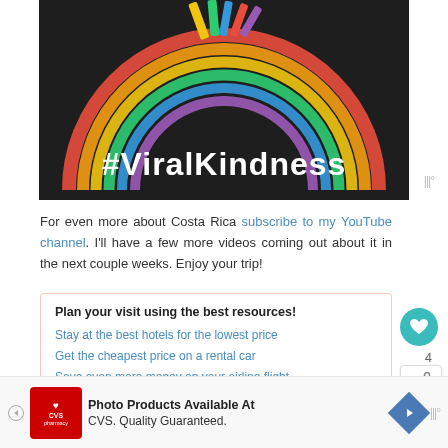[Figure (photo): Chalk rainbow drawing on dark asphalt with colorful chalk sticks at top, large white bold text reading #ViralKindness overlaid on the lower portion]
For even more about Costa Rica subscribe to my YouTube channel. I'll have a few more videos coming out about it in the next couple weeks. Enjoy your trip!
Plan your visit using the best resources!
Stay at the best hotels for the lowest price
Get the cheapest price on a rental car
Save even more money on your airline flight
[Figure (screenshot): What's Next promotional thumbnail showing A Unique Cycling... with a small circular photo]
[Figure (screenshot): CVS Pharmacy advertisement banner: Photo Products Available At CVS. Quality Guaranteed.]